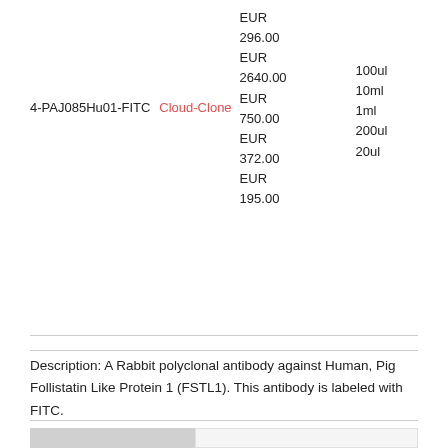4-PAJ085Hu01-FITC
Cloud-Clone
EUR
296.00
EUR
2640.00
EUR
750.00
EUR
372.00
EUR
195.00
100ul
10ml
1ml
200ul
20ul
Description: A Rabbit polyclonal antibody against Human, Pig Follistatin Like Protein 1 (FSTL1). This antibody is labeled with FITC.